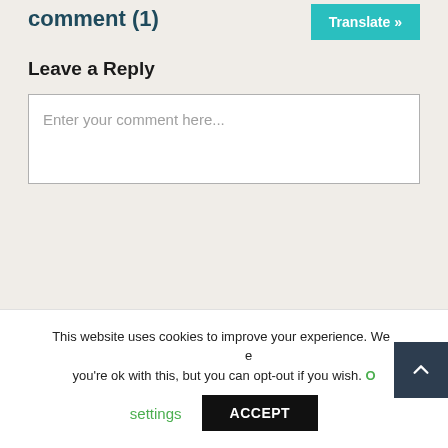comment (1)
[Figure (other): Translate button - teal/green button with text 'Translate »']
Leave a Reply
Enter your comment here...
This website uses cookies to improve your experience. We're ok with this, but you can opt-out if you wish.
settings
ACCEPT